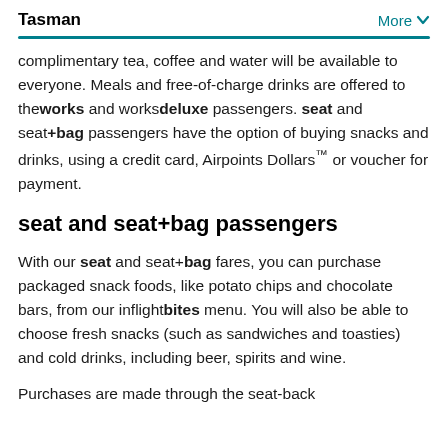Tasman   More
complimentary tea, coffee and water will be available to everyone. Meals and free-of-charge drinks are offered to theworks and worksdeluxe passengers. seat and seat+bag passengers have the option of buying snacks and drinks, using a credit card, Airpoints Dollars™ or voucher for payment.
seat and seat+bag passengers
With our seat and seat+bag fares, you can purchase packaged snack foods, like potato chips and chocolate bars, from our inflightbites menu. You will also be able to choose fresh snacks (such as sandwiches and toasties) and cold drinks, including beer, spirits and wine.
Purchases are made through the seat-back